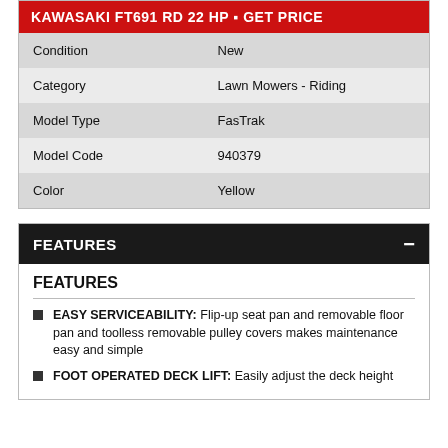KAWASAKI FT691 RD 22 HP • GET PRICE
|  |  |
| --- | --- |
| Condition | New |
| Category | Lawn Mowers - Riding |
| Model Type | FasTrak |
| Model Code | 940379 |
| Color | Yellow |
FEATURES
FEATURES
EASY SERVICEABILITY: Flip-up seat pan and removable floor pan and toolless removable pulley covers makes maintenance easy and simple
FOOT OPERATED DECK LIFT: Easily adjust the deck height